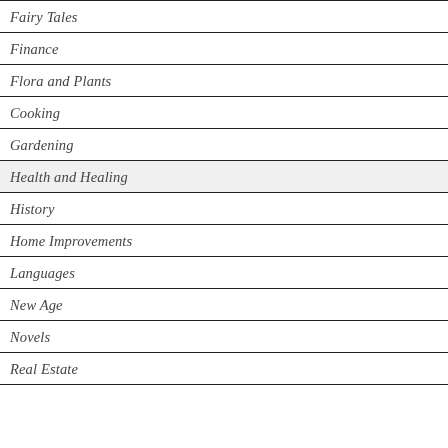Fairy Tales
Finance
Flora and Plants
Cooking
Gardening
Health and Healing
History
Home Improvements
Languages
New Age
Novels
Real Estate